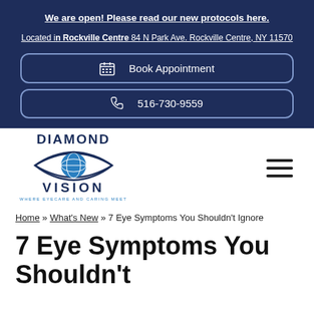We are open! Please read our new protocols here.
Located in Rockville Centre 84 N Park Ave. Rockville Centre, NY 11570
Book Appointment
516-730-9559
[Figure (logo): Diamond Vision logo with eye and globe graphic. Text reads DIAMOND VISION WHERE EYECARE AND CARING MEET]
Home » What's New » 7 Eye Symptoms You Shouldn't Ignore
7 Eye Symptoms You Shouldn't